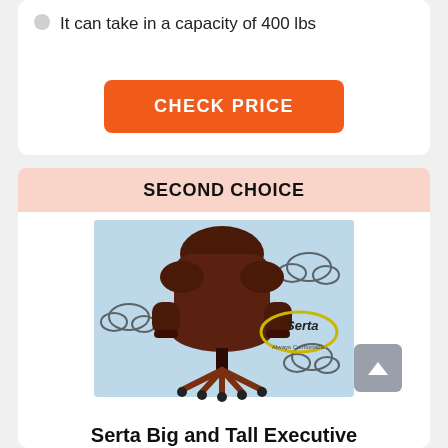It can take in a capacity of 400 lbs
CHECK PRICE
SECOND CHOICE
[Figure (photo): Brown leather Serta Big and Tall Executive office chair with wooden base, shown against a light blue background with cloud illustrations and the Serta logo with tagline 'Always Comfortable.']
Serta Big and Tall Executive